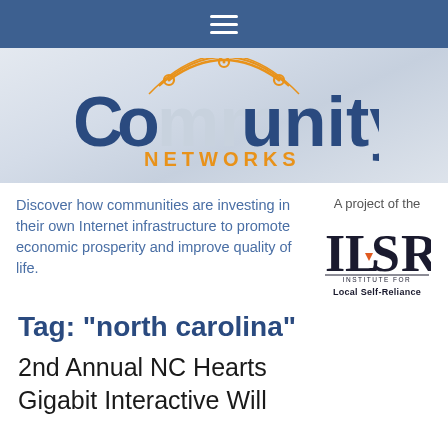≡
[Figure (logo): Community Networks logo with orange arc and circuit nodes above text reading 'Community' in dark blue and 'NETWORKS' in orange]
Discover how communities are investing in their own Internet infrastructure to promote economic prosperity and improve quality of life.
[Figure (logo): ILSR logo - Institute for Local Self-Reliance. Text reads 'ILSR' in large serif letters with a small orange/red downward triangle, below reads 'INSTITUTE FOR Local Self-Reliance']
Tag: "north carolina"
2nd Annual NC Hearts Gigabit Interactive Will